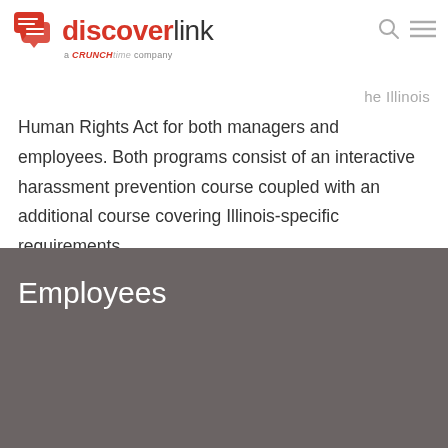[Figure (logo): DiscoverLink logo with red icon, text 'discoverlink' and tagline 'a CrunchTime company']
Human Rights Act for both managers and employees. Both programs consist of an interactive harassment prevention course coupled with an additional course covering Illinois-specific requirements.
Employees
[Figure (photo): Photo of a smiling man in a restaurant/event venue setting with a speech bubble reading 'Ultimately, we want all of our team members to feel safe coming to work']